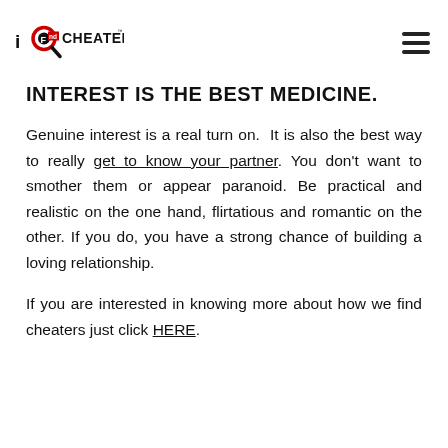iFind Cheaters [logo] [hamburger menu]
INTEREST IS THE BEST MEDICINE.
Genuine interest is a real turn on.  It is also the best way to really get to know your partner. You don't want to smother them or appear paranoid. Be practical and realistic on the one hand, flirtatious and romantic on the other. If you do, you have a strong chance of building a loving relationship.
If you are interested in knowing more about how we find cheaters just click HERE.